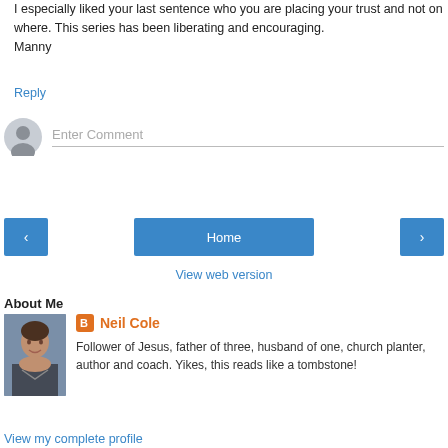I especially liked your last sentence who you are placing your trust and not on where. This series has been liberating and encouraging.
Manny
Reply
[Figure (other): Comment input box with avatar placeholder and 'Enter Comment' placeholder text]
[Figure (other): Navigation buttons: left arrow, Home, right arrow]
View web version
About Me
[Figure (photo): Profile photo of Neil Cole, a man in casual clothes]
Neil Cole
Follower of Jesus, father of three, husband of one, church planter, author and coach. Yikes, this reads like a tombstone!
View my complete profile